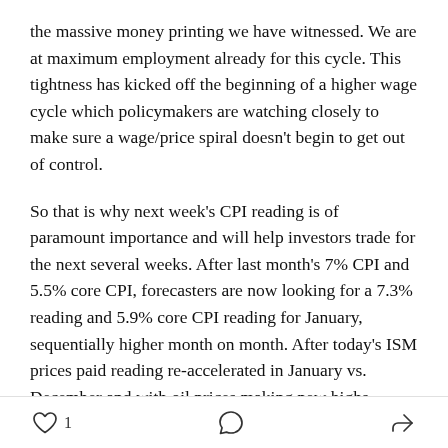the massive money printing we have witnessed. We are at maximum employment already for this cycle. This tightness has kicked off the beginning of a higher wage cycle which policymakers are watching closely to make sure a wage/price spiral doesn't begin to get out of control.
So that is why next week's CPI reading is of paramount importance and will help investors trade for the next several weeks. After last month's 7% CPI and 5.5% core CPI, forecasters are now looking for a 7.3% reading and 5.9% core CPI reading for January, sequentially higher month on month. After today's ISM prices paid reading re-accelerated in January vs. December and with oil prices making new highs, pricing pressures remain top
♡ 1   ○   >